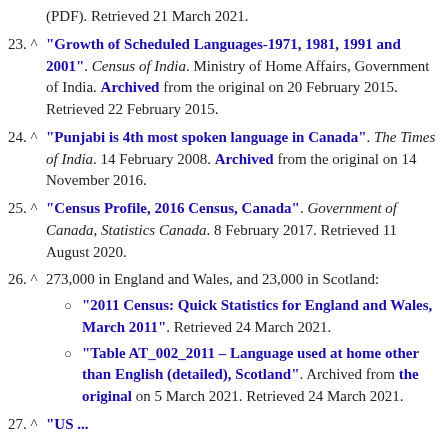(PDF). Retrieved 21 March 2021.
23. ^ "Growth of Scheduled Languages-1971, 1981, 1991 and 2001". Census of India. Ministry of Home Affairs, Government of India. Archived from the original on 20 February 2015. Retrieved 22 February 2015.
24. ^ "Punjabi is 4th most spoken language in Canada". The Times of India. 14 February 2008. Archived from the original on 14 November 2016.
25. ^ "Census Profile, 2016 Census, Canada". Government of Canada, Statistics Canada. 8 February 2017. Retrieved 11 August 2020.
26. ^ 273,000 in England and Wales, and 23,000 in Scotland: "2011 Census: Quick Statistics for England and Wales, March 2011". Retrieved 24 March 2021. "Table AT_002_2011 – Language used at home other than English (detailed), Scotland". Archived from the original on 5 March 2021. Retrieved 24 March 2021.